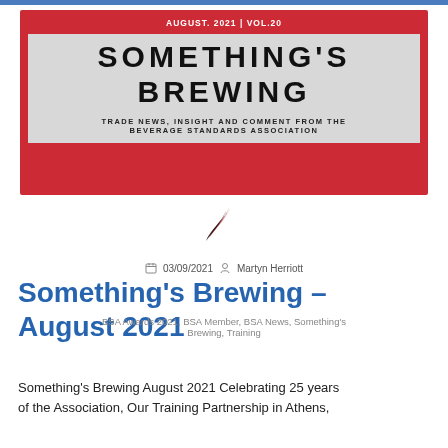[Figure (other): Something's Brewing newsletter banner. Red background with grey central panel. Text: AUGUST. 2021 | VOL.20 at top, then large bold title SOMETHING'S BREWING, then subtitle TRADE NEWS, INSIGHT AND COMMENT FROM THE BEVERAGE STANDARDS ASSOCIATION]
[Figure (logo): BSA swirling ribbon logo in white, red, and black]
03/09/2021  Martyn Herriott
Something's Brewing – August 2021
BSA Awards 2021, BSA Member, BSA News, Something's Brewing, Training
Something's Brewing August 2021 Celebrating 25 years of the Association, Our Training Partnership in Athens,